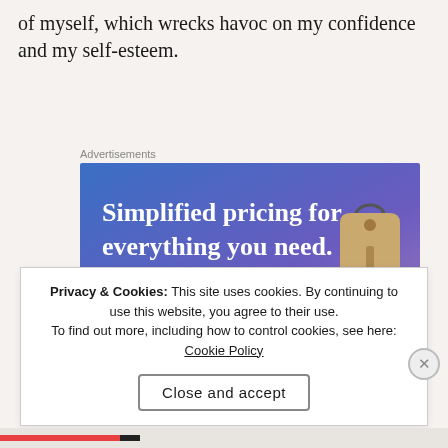of myself, which wrecks havoc on my confidence and my self-esteem.
[Figure (screenshot): Advertisement banner with blue-to-purple gradient background. Text reads 'Simplified pricing for everything you need.' with a pink 'Build Your Website' button and a price tag graphic on the right.]
Privacy & Cookies: This site uses cookies. By continuing to use this website, you agree to their use.
To find out more, including how to control cookies, see here: Cookie Policy